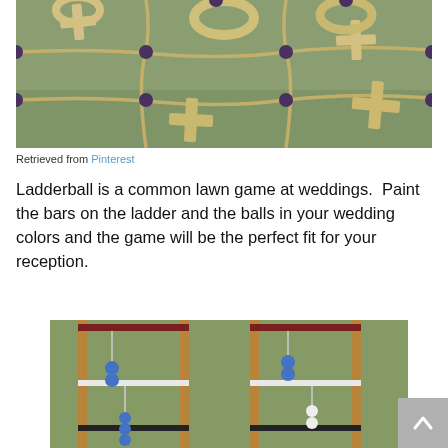[Figure (photo): Outdoor giant tic-tac-toe game with rope grid on grass, wooden X and O pieces, and dark purple balls at intersections.]
Retrieved from Pinterest
Ladderball is a common lawn game at weddings.  Paint the bars on the ladder and the balls in your wedding colors and the game will be the perfect fit for your reception.
[Figure (photo): Ladderball game setup on grass showing two wooden ladder frames painted dark red/maroon, with blue and white ball sets hanging from the rungs.]